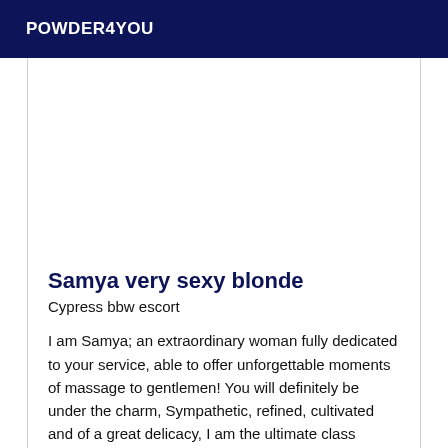POWDER4YOU
[Figure (photo): White/blank image placeholder area]
Samya very sexy blonde
Cypress bbw escort
I am Samya; an extraordinary woman fully dedicated to your service, able to offer unforgettable moments of massage to gentlemen! You will definitely be under the charm, Sympathetic, refined, cultivated and of a great delicacy, I am the ultimate class escort ! Unique and